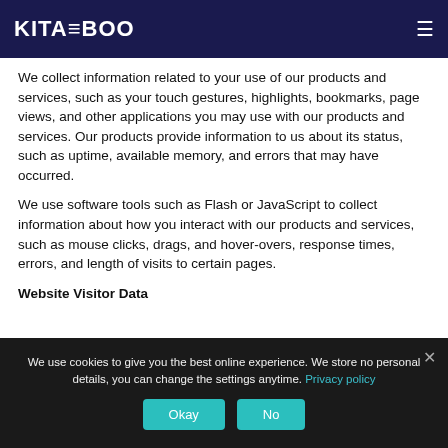KITABOO
We collect information related to your use of our products and services, such as your touch gestures, highlights, bookmarks, page views, and other applications you may use with our products and services. Our products provide information to us about its status, such as uptime, available memory, and errors that may have occurred.
We use software tools such as Flash or JavaScript to collect information about how you interact with our products and services, such as mouse clicks, drags, and hover-overs, response times, errors, and length of visits to certain pages.
Website Visitor Data
We use cookies to give you the best online experience. We store no personal details, you can change the settings anytime. Privacy policy